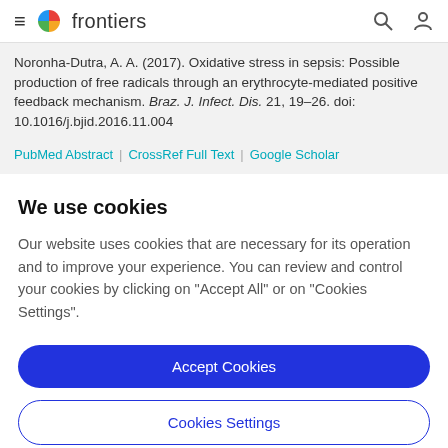frontiers
Noronha-Dutra, A. A. (2017). Oxidative stress in sepsis: Possible production of free radicals through an erythrocyte-mediated positive feedback mechanism. Braz. J. Infect. Dis. 21, 19–26. doi: 10.1016/j.bjid.2016.11.004
PubMed Abstract | CrossRef Full Text | Google Scholar
We use cookies
Our website uses cookies that are necessary for its operation and to improve your experience. You can review and control your cookies by clicking on "Accept All" or on "Cookies Settings".
Accept Cookies
Cookies Settings